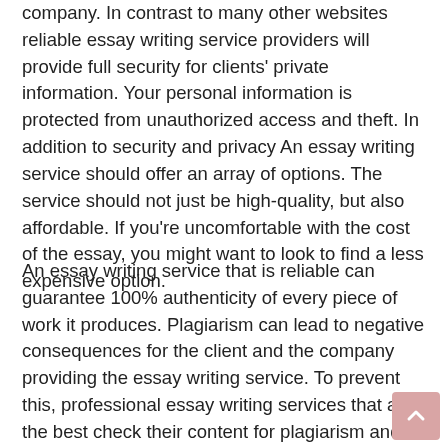company. In contrast to many other websites reliable essay writing service providers will provide full security for clients' private information. Your personal information is protected from unauthorized access and theft. In addition to security and privacy An essay writing service should offer an array of options. The service should not just be high-quality, but also affordable. If you're uncomfortable with the cost of the essay, you might want to look to find a less expensive option.
An essay writing service that is reliable can guarantee 100% authenticity of every piece of work it produces. Plagiarism can lead to negative consequences for the client and the company providing the essay writing service. To prevent this, professional essay writing services that are the best check their content for plagiarism and make sure that the content is free from.